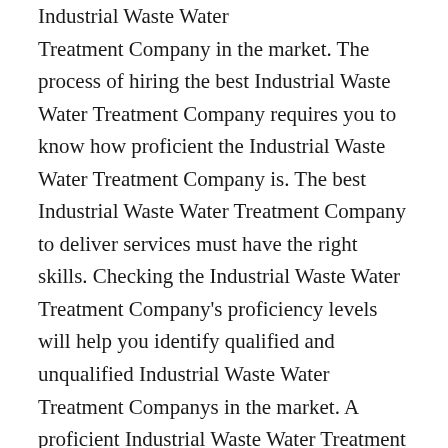Industrial Waste Water Treatment Company in the market. The process of hiring the best Industrial Waste Water Treatment Company requires you to know how proficient the Industrial Waste Water Treatment Company is. The best Industrial Waste Water Treatment Company to deliver services must have the right skills. Checking the Industrial Waste Water Treatment Company's proficiency levels will help you identify qualified and unqualified Industrial Waste Water Treatment Companys in the market. A proficient Industrial Waste Water Treatment Company will deliver the best services because they have delivered the services for a long time and they know what to do to ensure clients get the best services. Selecting a proficient Industrial Waste Water Treatment Company will ensure you get the best